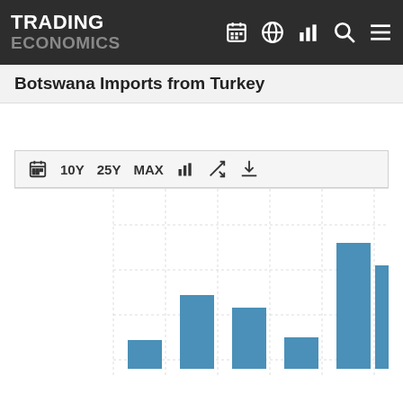TRADING ECONOMICS
Botswana Imports from Turkey
[Figure (bar-chart): Botswana Imports from Turkey]